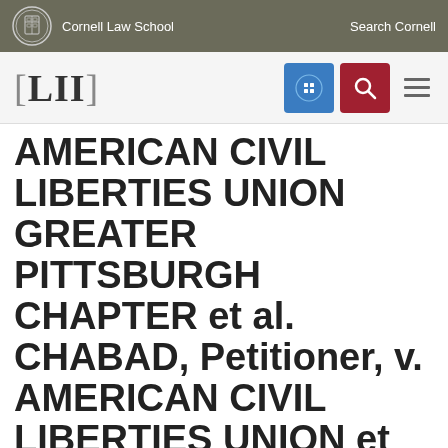Cornell Law School   Search Cornell
[LII]
AMERICAN CIVIL LIBERTIES UNION GREATER PITTSBURGH CHAPTER et al. CHABAD, Petitioner, v. AMERICAN CIVIL LIBERTIES UNION et al. CITY OF